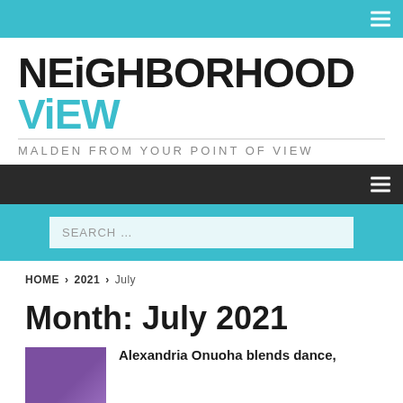[Figure (logo): NEIGHBORHOOD VIEW - MALDEN FROM YOUR POINT OF VIEW logo]
SEARCH ...
HOME > 2021 > July
Month: July 2021
Alexandria Onuoha blends dance,